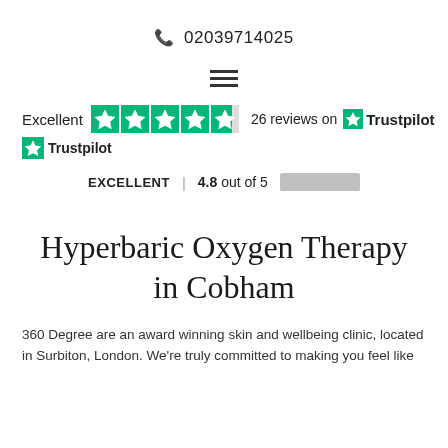📞 02039714025
[Figure (other): Hamburger menu icon (three horizontal lines)]
Excellent  ★★★★★  26 reviews on  ★ Trustpilot
★ Trustpilot
EXCELLENT | 4.8 out of 5 [bar]
Hyperbaric Oxygen Therapy in Cobham
360 Degree are an award winning skin and wellbeing clinic, located in Surbiton, London. We're truly committed to making you feel like